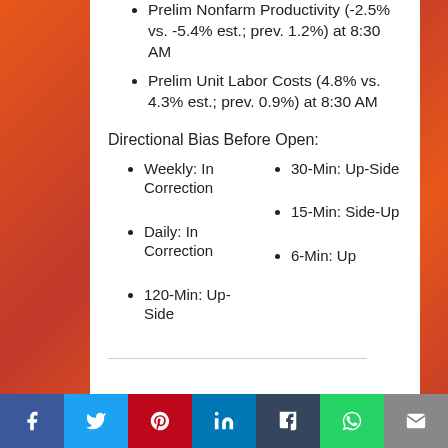Prelim Nonfarm Productivity (-2.5% vs. -5.4% est.; prev. 1.2%) at 8:30 AM
Prelim Unit Labor Costs (4.8% vs. 4.3% est.; prev. 0.9%) at 8:30 AM
Directional Bias Before Open:
Weekly: In Correction
Daily: In Correction
120-Min: Up-Side
30-Min: Up-Side
15-Min: Side-Up
6-Min: Up
Facebook Twitter Pinterest LinkedIn Tumblr WhatsApp Email